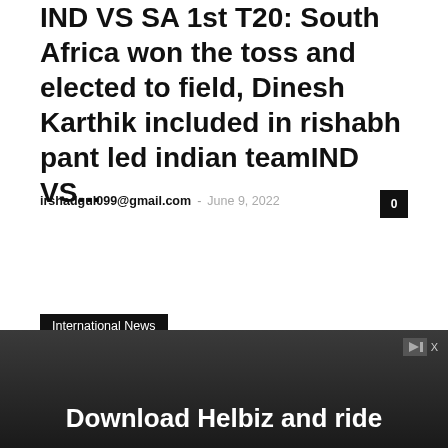IND VS SA 1st T20: South Africa won the toss and elected to field, Dinesh Karthik included in rishabh pant led indian teamIND VS...
irshadgul099@gmail.com – June 9, 2022
0
International News
an Cricket Team: Yuvrar Singh and
[Figure (photo): Advertisement banner showing a person riding a scooter with text 'Download Helbiz and ride' and a skip button in the top right corner]